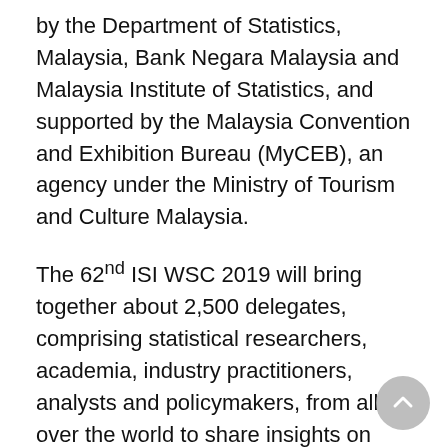by the Department of Statistics, Malaysia, Bank Negara Malaysia and Malaysia Institute of Statistics, and supported by the Malaysia Convention and Exhibition Bureau (MyCEB), an agency under the Ministry of Tourism and Culture Malaysia.
The 62nd ISI WSC 2019 will bring together about 2,500 delegates, comprising statistical researchers, academia, industry practitioners, analysts and policymakers, from all over the world to share insights on development in statistical science and to advance application of statistics for discovery, innovation and decision making. About 1,300 papers in various statistical disciplines and applications will be presented and discussed over a period of five days. In addition to the Scientific Programme, satellite seminars, meetings and short courses will be organised as the pre-